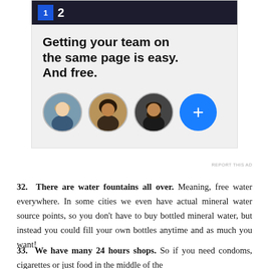[Figure (screenshot): Advertisement banner with dark header bar showing a logo icon and number, tagline 'Getting your team on the same page is easy. And free.' with three circular profile photos and a blue plus button below on a light gray background.]
REPORT THIS AD
32. There are water fountains all over. Meaning, free water everywhere. In some cities we even have actual mineral water source points, so you don't have to buy bottled mineral water, but instead you could fill your own bottles anytime and as much you want!
33. We have many 24 hours shops. So if you need condoms, cigarettes or just food in the middle of the night, you don't have to worry, they are always open!